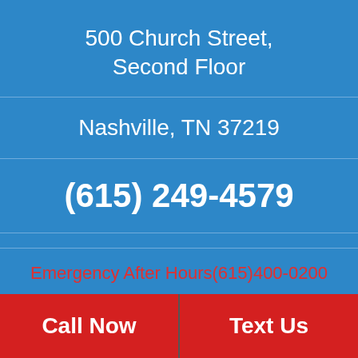500 Church Street,
Second Floor
Nashville, TN 37219
(615) 249-4579
Emergency After Hours(615)400-0200
Call Now
Text Us